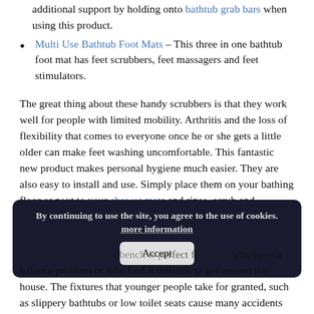Multi Use Bathtub Foot Mats – This three in one bathtub foot mat has feet scrubbers, feet massagers and feet stimulators.
The great thing about these handy scrubbers is that they work well for people with limited mobility. Arthritis and the loss of flexibility that comes to everyone once he or she gets a little older can make feet washing uncomfortable. This fantastic new product makes personal hygiene much easier. They are also easy to install and use. Simply place them on your bathing floor or next to your shower mats and rinse, scrub and exfoliate away.
Bathtub Transfer Benches
The bathroom transfer bench is perfect for those who have a balance problem or who find it difficult to get around the house. The fixtures that younger people take for granted, such as slippery bathtubs or low toilet seats cause many accidents